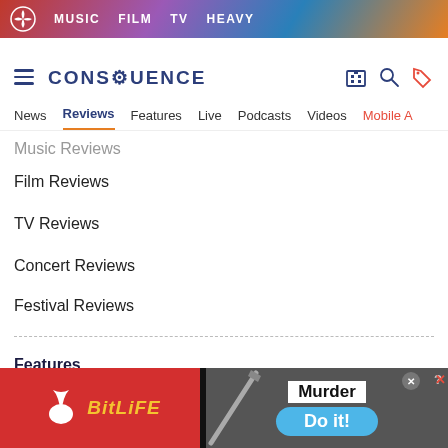MUSIC  FILM  TV  HEAVY
[Figure (screenshot): Consequence of Sound website navigation header with hamburger menu, logo, and icons]
News  Reviews  Features  Live  Podcasts  Videos  Mobile A
Music Reviews
Film Reviews
TV Reviews
Concert Reviews
Festival Reviews
Features
Editorials
Interviews
[Figure (photo): BitLife advertisement banner with Murder Do it! text]